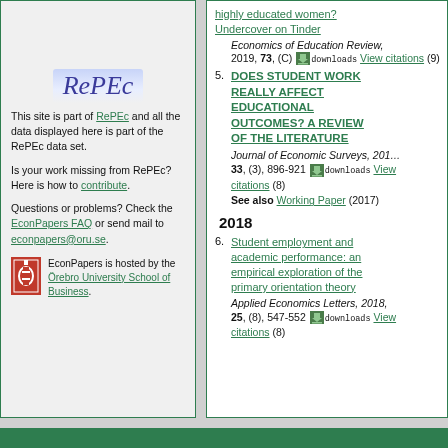[Figure (logo): RePEc logo in italic blue-purple text with light blue background highlight]
This site is part of RePEc and all the data displayed here is part of the RePEc data set.
Is your work missing from RePEc? Here is how to contribute.
Questions or problems? Check the EconPapers FAQ or send mail to econpapers@oru.se.
EconPapers is hosted by the Örebro University School of Business.
highly educated women? Undercover on Tinder
Economics of Education Review, 2019, 73, (C) downloads View citations (9)
5. DOES STUDENT WORK REALLY AFFECT EDUCATIONAL OUTCOMES? A REVIEW OF THE LITERATURE
Journal of Economic Surveys, 2019, 33, (3), 896-921 downloads View citations (8) See also Working Paper (2017)
2018
6. Student employment and academic performance: an empirical exploration of the primary orientation theory
Applied Economics Letters, 2018, 25, (8), 547-552 downloads View citations (8)